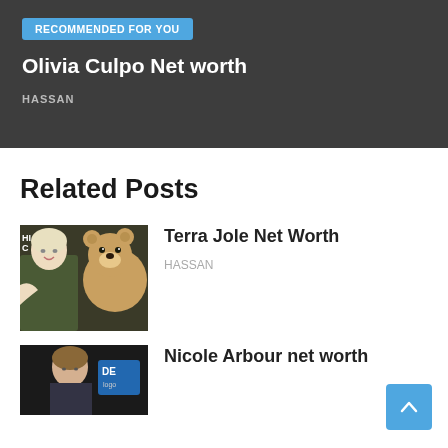RECOMMENDED FOR YOU
Olivia Culpo Net worth
HASSAN
Related Posts
[Figure (photo): Woman in olive dress posing with a large teddy bear costume character]
Terra Jole Net Worth
HASSAN
[Figure (photo): Partial view of Nicole Arbour with a blue badge/logo visible]
Nicole Arbour net worth